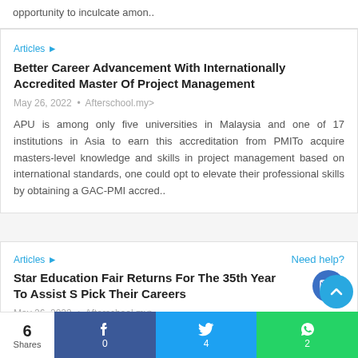opportunity to inculcate amon..
Articles ▶
Better Career Advancement With Internationally Accredited Master Of Project Management
May 26, 2022 • Afterschool.my>
APU is among only five universities in Malaysia and one of 17 institutions in Asia to earn this accreditation from PMITo acquire masters-level knowledge and skills in project management based on international standards, one could opt to elevate their professional skills by obtaining a GAC-PMI accred..
Articles ▶
Need help?
Star Education Fair Returns For The 35th Year To Assist S Pick Their Careers
May 26, 2022 • Afterschool.my>
Star Education Fair 2022 will be making things easier come June 4 and 5 as it offers students various study options, all under one ro All your questions about studying locally and abroad can be
6 Shares  0  4  2